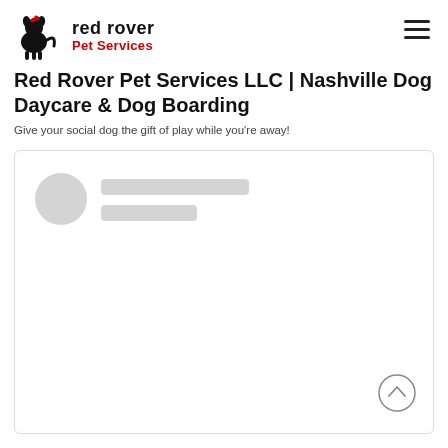Red Rover Pet Services LLC | Nashville Dog Daycare & Dog Boarding
Red Rover Pet Services LLC | Nashville Dog Daycare & Dog Boarding
Give your social dog the gift of play while you're away!
[Figure (screenshot): Loading placeholder card with a circular avatar placeholder and two rectangular content placeholder bars, representing a loading state for a content card on the website.]